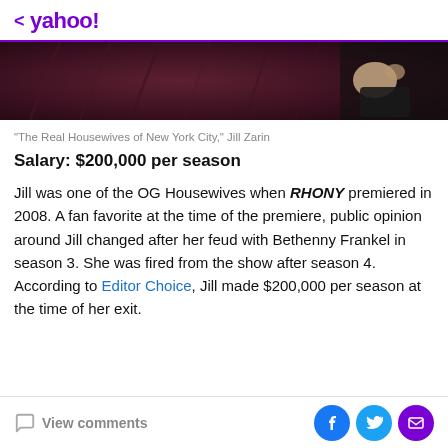< yahoo!
[Figure (photo): Partial photo of a person wearing a dark maroon/burgundy velvet outfit, cropped view showing torso and hand holding a dark clutch bag]
"The Real Housewives of New York City," Jill Zarin
Salary: $200,000 per season
Jill was one of the OG Housewives when RHONY premiered in 2008. A fan favorite at the time of the premiere, public opinion around Jill changed after her feud with Bethenny Frankel in season 3. She was fired from the show after season 4. According to Editor Choice, Jill made $200,000 per season at the time of her exit.
View comments